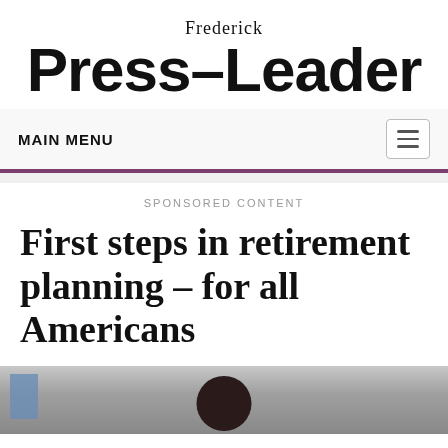Frederick Press-Leader
MAIN MENU
SPONSORED CONTENT
First steps in retirement planning – for all Americans
[Figure (photo): Photo of a person, partially visible at the bottom of the page]